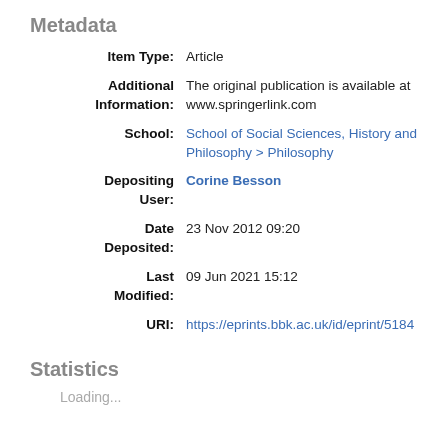Metadata
| Field | Value |
| --- | --- |
| Item Type: | Article |
| Additional Information: | The original publication is available at www.springerlink.com |
| School: | School of Social Sciences, History and Philosophy > Philosophy |
| Depositing User: | Corine Besson |
| Date Deposited: | 23 Nov 2012 09:20 |
| Last Modified: | 09 Jun 2021 15:12 |
| URI: | https://eprints.bbk.ac.uk/id/eprint/5184 |
Statistics
Loading...